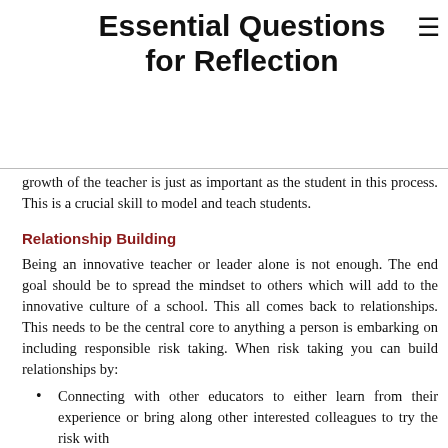Essential Questions for Reflection
growth of the teacher is just as important as the student in this process. This is a crucial skill to model and teach students.
Relationship Building
Being an innovative teacher or leader alone is not enough. The end goal should be to spread the mindset to others which will add to the innovative culture of a school. This all comes back to relationships. This needs to be the central core to anything a person is embarking on including responsible risk taking. When risk taking you can build relationships by:
Connecting with other educators to either learn from their experience or bring along other interested colleagues to try the risk with